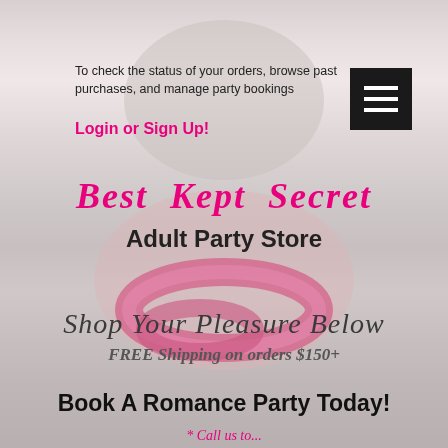To check the status of your orders, browse past purchases, and manage party bookings
Login or Sign Up!
[Figure (screenshot): Menu hamburger button (three white lines on black background)]
Best Kept Secret
Adult Party Store
[Figure (photo): Background photo of pink lips/rings on grey background]
Shop Your Pleasure Below
FREE Shipping on orders $150+
Book A Romance Party Today!